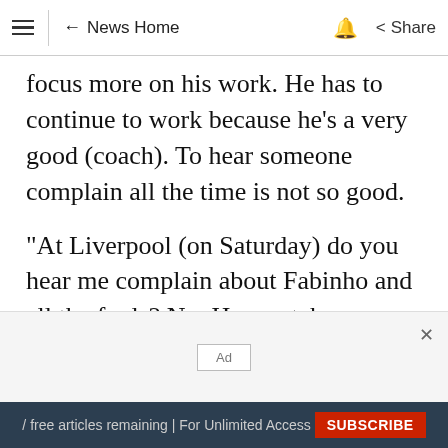News Home | Share
focus more on his work. He has to continue to work because he's a very good (coach). To hear someone complain all the time is not so good.
"At Liverpool (on Saturday) do you hear me complain about Fabinho and all the fouls? No. He can take my advice if he wants, but if not I don't care.
Both teams now have two games remaining as
Ad
/ free articles remaining | For Unlimited Access  SUBSCRIBE